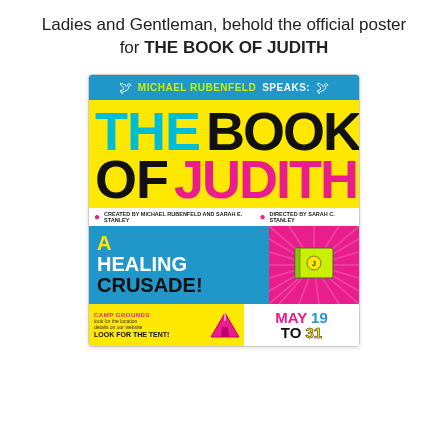Ladies and Gentleman, behold the official poster for THE BOOK OF JUDITH
[Figure (illustration): Official theatre poster for 'The Book of Judith'. Features bold graphic design with colorful text on yellow, blue, cyan, and pink backgrounds. Header reads 'MICHAEL RUBENFELD SPEAKS:' on blue banner. Main title shows 'THE BOOK / OF JUDITH' in cyan, black, and pink bold fonts on yellow. Credits strip below: 'CREATED BY MICHAEL RUBENFELD AND SARAH E. STANLEY / DIRECTED BY SARAH C. STANLEY'. Lower section: blue panel with 'A HEALING CRUSADE!' in white/black/yellow text; pink panel with sunburst and book illustration. Footer: yellow panel with 'CAMP GROUNDS / LOOK FOR THE TENT!', pink tent illustration, and white panel with 'MAY 19 TO 31' in multicolor.]